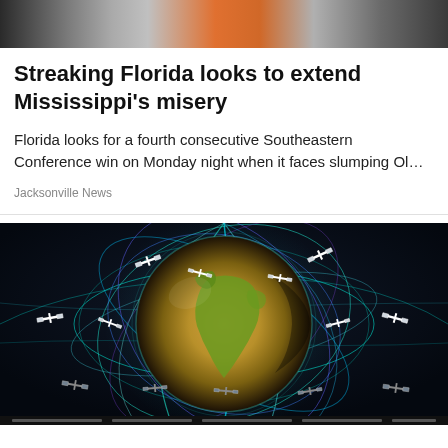[Figure (photo): Partial top banner image showing orange and gray tones, likely sports crowd or jersey]
Streaking Florida looks to extend Mississippi's misery
Florida looks for a fourth consecutive Southeastern Conference win on Monday night when it faces slumping Ol…
Jacksonville News
[Figure (illustration): CGI illustration of Earth globe showing Africa and Europe surrounded by orbiting satellites with glowing teal, blue, and purple orbital trajectory lines against a dark background]